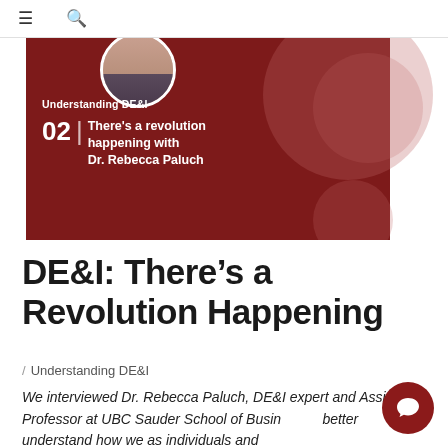≡  🔍
[Figure (illustration): Podcast banner image with dark red background showing episode 02 of 'Understanding DE&I' podcast titled 'There's a revolution happening with Dr. Rebecca Paluch', with a circular photo of a woman at the top and decorative circular shapes]
DE&I: There's a Revolution Happening
/ Understanding DE&I
We interviewed Dr. Rebecca Paluch, DE&I expert and Assistant Professor at UBC Sauder School of Business to better understand how we as individuals and